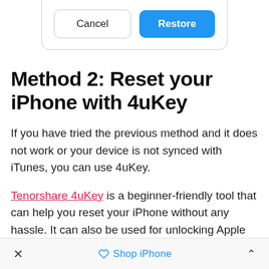[Figure (screenshot): iOS-style dialog box with Cancel and Restore buttons]
Method 2: Reset your iPhone with 4uKey
If you have tried the previous method and it does not work or your device is not synced with iTunes, you can use 4uKey.
Tenorshare 4uKey is a beginner-friendly tool that can help you reset your iPhone without any hassle. It can also be used for unlocking Apple ID, removing screen time passcode, and bypassing MDM. Even if you do not have experience or expertise, you can use 4uKey and
× Shop iPhone ^